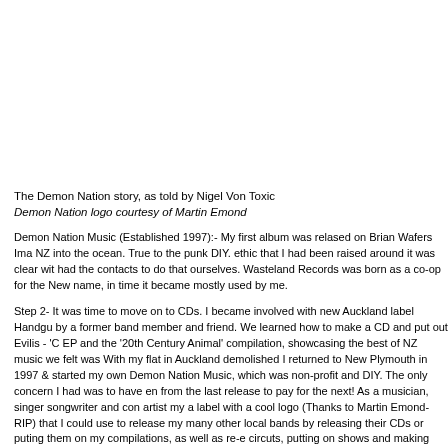The Demon Nation story, as told by Nigel Von Toxic
Demon Nation logo courtesy of Martin Emond
Demon Nation Music (Established 1997):- My first album was relased on Brian Wafers Ima NZ into the ocean. True to the punk DIY. ethic that I had been raised around it was clear wit had the contacts to do that ourselves. Wasteland Records was born as a co-op for the New name, in time it became mostly used by me.
Step 2- It was time to move on to CDs. I became involved with new Auckland label Handgu by a former band member and friend. We learned how to make a CD and put out Evilis - 'C EP and the '20th Century Animal' compilation, showcasing the best of NZ music we felt was With my flat in Auckland demolished I returned to New Plymouth in 1997 & started my own Demon Nation Music, which was non-profit and DIY. The only concern I had was to have en from the last release to pay for the next! As a musician, singer songwriter and con artist my a label with a cool logo (Thanks to Martin Emond-RIP) that I could use to release my many other local bands by releasing their CDs or puting them on my compilations, as well as re-e circuts, putting on shows and making contacts worldwide. No small feat from a small town li Plymouth! Demon Nation is still going strong to this day, still looking for new talent, new con deals. Making music videos and albums with the same DIY concept I started with.
The Internet and PC are becoming the greatest tool we have, the future will hopefully be pr the next step is giving albums away as free downloads. We have made the new {Horror Sto available this way and will eventully have our back catalog available via download too. Mu